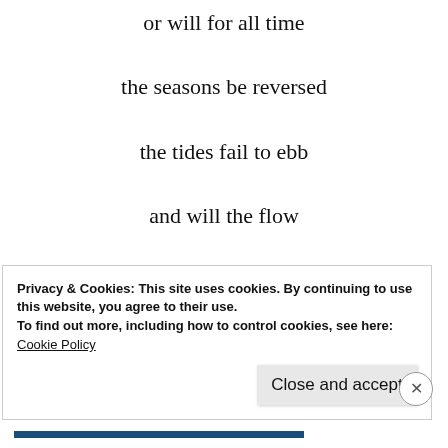or will for all time
the seasons be reversed
the tides fail to ebb
and will the flow
of reason
End???
Privacy & Cookies: This site uses cookies. By continuing to use this website, you agree to their use.
To find out more, including how to control cookies, see here: Cookie Policy
Close and accept